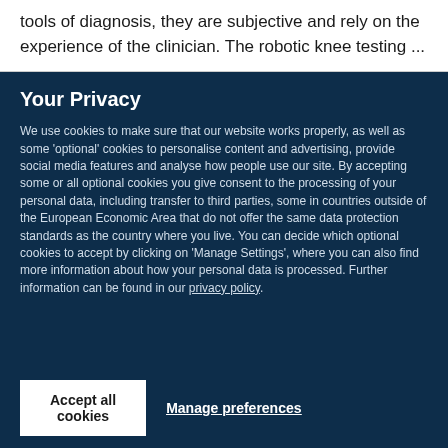tools of diagnosis, they are subjective and rely on the experience of the clinician. The robotic knee testing ...
Your Privacy
We use cookies to make sure that our website works properly, as well as some 'optional' cookies to personalise content and advertising, provide social media features and analyse how people use our site. By accepting some or all optional cookies you give consent to the processing of your personal data, including transfer to third parties, some in countries outside of the European Economic Area that do not offer the same data protection standards as the country where you live. You can decide which optional cookies to accept by clicking on 'Manage Settings', where you can also find more information about how your personal data is processed. Further information can be found in our privacy policy.
Accept all cookies
Manage preferences